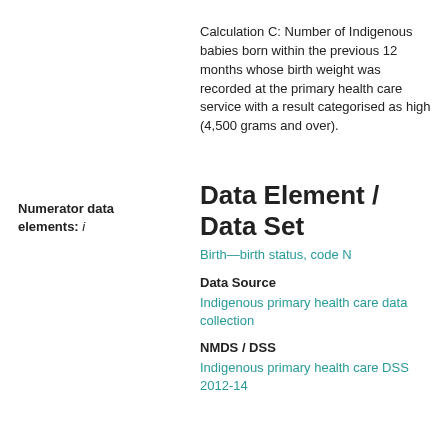Calculation C: Number of Indigenous babies born within the previous 12 months whose birth weight was recorded at the primary health care service with a result categorised as high (4,500 grams and over).
Numerator data elements: i
Data Element / Data Set
Birth—birth status, code N
Data Source
Indigenous primary health care data collection
NMDS / DSS
Indigenous primary health care DSS 2012-14